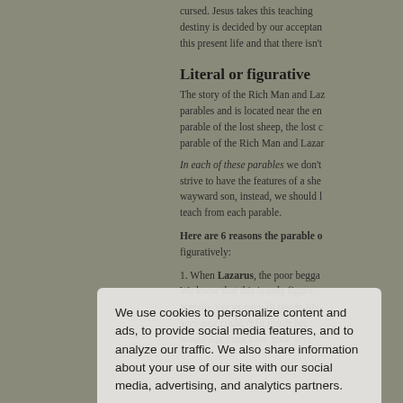cursed. Jesus takes this teaching destiny is decided by our acceptance this present life and that there isn't
Literal or figurative
The story of the Rich Man and Laz parables and is located near the en parable of the lost sheep, the lost c parable of the Rich Man and Lazar
In each of these parables we don't strive to have the features of a she wayward son, instead, we should l teach from each parable.
Here are 6 reasons the parable o figuratively:
1. When Lazarus, the poor begga We know that this is only figura literally live or even fit inside Ab ages past couldn't fit inside his would Abraham have gone whe
We use cookies to personalize content and ads, to provide social media features, and to analyze our traffic. We also share information about your use of our site with our social media, advertising, and analytics partners.
Cookie Settings
Accept All Cookies